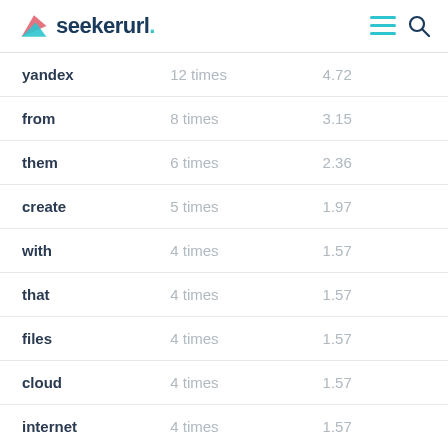seekerurl.
| keyword | frequency | score |
| --- | --- | --- |
| yandex | 12 times | 4.72 |
| from | 8 times | 3.15 |
| them | 6 times | 2.36 |
| create | 5 times | 1.97 |
| with | 4 times | 1.57 |
| that | 4 times | 1.57 |
| files | 4 times | 1.57 |
| cloud | 4 times | 1.57 |
| internet | 4 times | 1.57 |